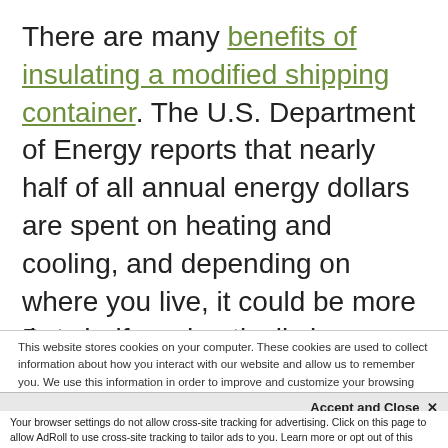There are many benefits of insulating a modified shipping container. The U.S. Department of Energy reports that nearly half of all annual energy dollars are spent on heating and cooling, and depending on where you live, it could be more than half.
But you can drastically improve the energy
This website stores cookies on your computer. These cookies are used to collect information about how you interact with our website and allow us to remember you. We use this information in order to improve and customize your browsing experience and for analytics and metrics about our visitors both on this website and other media. To find out more about the cookies we use, see our Privacy Policy.
Accept and Close ✕
Your browser settings do not allow cross-site tracking for advertising. Click on this page to allow AdRoll to use cross-site tracking to tailor ads to you. Learn more or opt out of this AdRoll tracking by clicking here. This message only appears once.